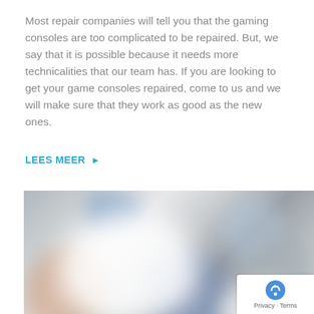Most repair companies will tell you that the gaming consoles are too complicated to be repaired. But, we say that it is possible because it needs more technicalities that our team has. If you are looking to get your game consoles repaired, come to us and we will make sure that they work as good as the new ones.
LEES MEER ▶
[Figure (photo): Blurred photo of hands working on electronic/gaming console components on a white surface, with blue and white parts visible.]